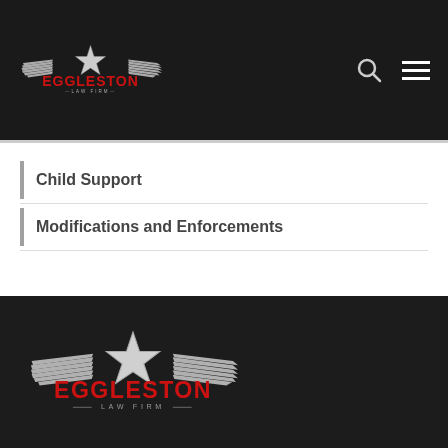Eggleston Law Firm
Child Support
Modifications and Enforcements
[Figure (logo): Eggleston Law Firm logo in dark footer, with silver wings, star, and red EGGLESTON text above LAW FIRM]